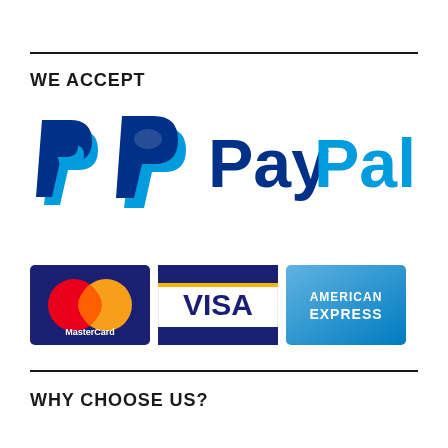WE ACCEPT
[Figure (logo): PayPal logo with double-P icon in blue shades and PayPal wordmark in dark blue and light blue]
[Figure (logo): MasterCard logo, VISA logo, and American Express logo side by side]
WHY CHOOSE US?